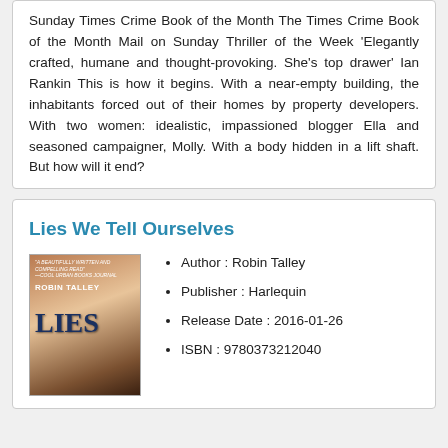Sunday Times Crime Book of the Month The Times Crime Book of the Month Mail on Sunday Thriller of the Week 'Elegantly crafted, humane and thought-provoking. She's top drawer' Ian Rankin This is how it begins. With a near-empty building, the inhabitants forced out of their homes by property developers. With two women: idealistic, impassioned blogger Ella and seasoned campaigner, Molly. With a body hidden in a lift shaft. But how will it end?
Lies We Tell Ourselves
[Figure (photo): Book cover of 'Lies We Tell Ourselves' by Robin Talley, showing two young women's faces]
Author : Robin Talley
Publisher : Harlequin
Release Date : 2016-01-26
ISBN : 9780373212040